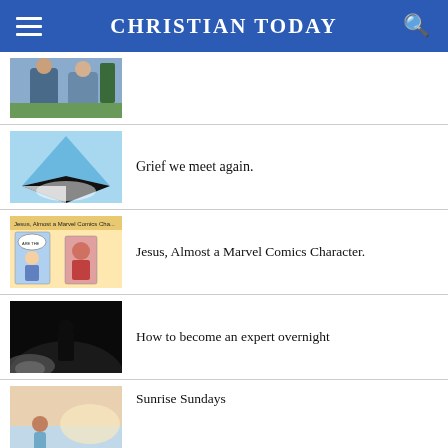CHRISTIAN TODAY
[Figure (photo): Two men posing together outdoors, one in a suit]
[Figure (photo): Origami or paper folded into a shape, black and white contrast]
Grief we meet again.
[Figure (illustration): Jesus, Almost a Marvel Comics Character comic strip panel]
Jesus, Almost a Marvel Comics Character.
[Figure (photo): Dark background with a silhouette figure and light]
How to become an expert overnight
[Figure (photo): Person with short hair looking into bright light or sunrise]
Sunrise Sundays